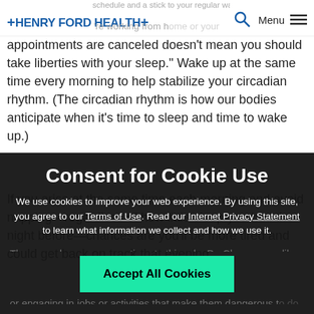HENRY FORD HEALTH+  [Menu icon] [Search icon]
schedule and a stick to your regular wake time,' says Dr. [name]. If you're working from home or your appointments are canceled doesn't mean you should take liberties with your sleep." Wake up at the same time every morning to help stabilize your circadian rhythm. (The circadian rhythm is how our bodies anticipate when it's time to sleep and time to wake up.)
If you arise at the same time each morning and avoid napping—regardless of how little sleep you had the night before—chances are you'll be more tired and could get back on track that evening.
Consent for Cookie Use
We use cookies to improve your web experience. By using this site, you agree to our Terms of Use. Read our Internet Privacy Statement to learn what information we collect and how we use it.
Accept All Cookies
There are, however, exceptions to this rule. Dr. Cheng says, like if you'll be operating heavy machinery, driving, or engaging in jobs or activities that make them dangerous to do while sleepy. In those cases, sleeping in or napping may be necessary.